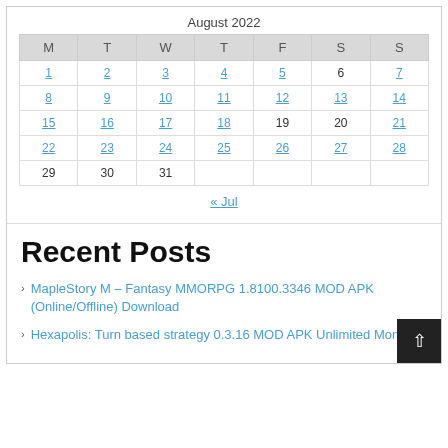August 2022
| M | T | W | T | F | S | S |
| --- | --- | --- | --- | --- | --- | --- |
| 1 | 2 | 3 | 4 | 5 | 6 | 7 |
| 8 | 9 | 10 | 11 | 12 | 13 | 14 |
| 15 | 16 | 17 | 18 | 19 | 20 | 21 |
| 22 | 23 | 24 | 25 | 26 | 27 | 28 |
| 29 | 30 | 31 |  |  |  |  |
« Jul
Recent Posts
MapleStory M – Fantasy MMORPG 1.8100.3346 MOD APK (Online/Offline) Download
Hexapolis: Turn based strategy 0.3.16 MOD APK Unlimited Money